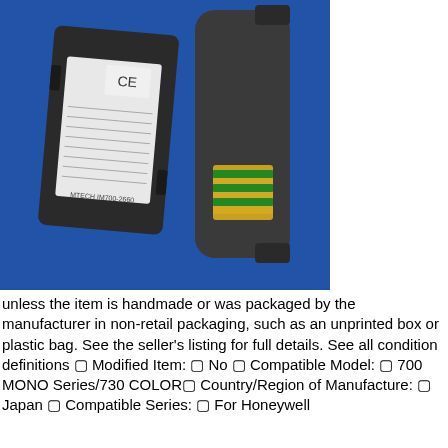[Figure (photo): Two dark grey/black batteries photographed on a blue fabric background. The left battery is flat/rectangular showing a label with CE mark and text. The right battery is more cylindrical/rounded and shows gold and green contact pads at the bottom.]
unless the item is handmade or was packaged by the manufacturer in non-retail packaging, such as an unprinted box or plastic bag. See the seller's listing for full details. See all condition definitions ⊠ Modified Item: ⊠ No ⊠ Compatible Model: ⊠ 700 MONO Series/730 COLOR⊠ Country/Region of Manufacture: ⊠ Japan ⊠ Compatible Series: ⊠ For Honeywell